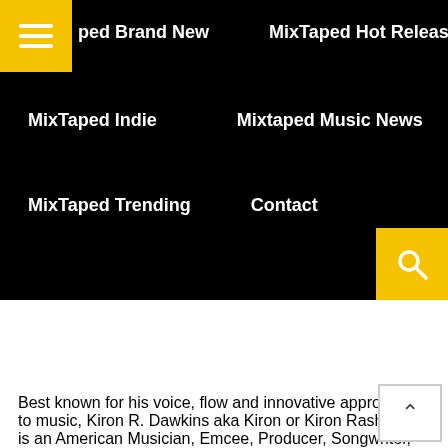MixTaped Brand New | MixTaped Hot Releases | MixTaped Indie | Mixtaped Music News | MixTaped Trending | Contact
[Figure (screenshot): Black navigation menu with yellow hamburger button top-left and yellow search button bottom-right. Menu items: MixTaped Brand New, MixTaped Hot Releases, MixTaped Indie, Mixtaped Music News, MixTaped Trending, Contact. Below is a black-and-white photo of vinyl records.]
Best known for his voice, flow and innovative approach to music, Kiron R. Dawkins aka Kiron or Kiron Rasheed is an American Musician, Emcee, Producer, Songwriter, Singer, Entrepreneur and